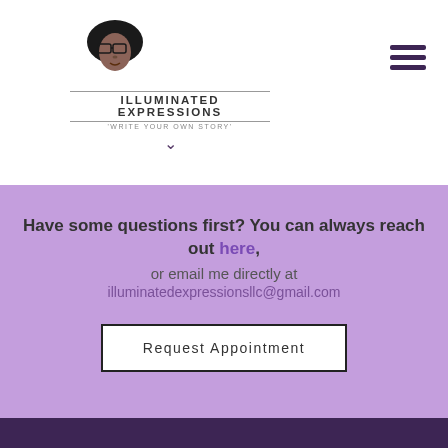[Figure (logo): Illuminated Expressions logo with illustrated face with afro, text ILLUMINATED EXPRESSIONS and tagline 'WRITE YOUR OWN STORY']
[Figure (other): Hamburger menu icon with three horizontal dark purple bars]
Have some questions first? You can always reach out here, or email me directly at illuminatedexpressionsllc@gmail.com
Request Appointment